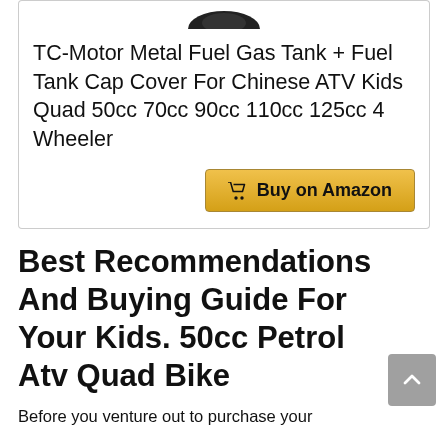[Figure (photo): Partial product image of a metal fuel gas tank, cropped at top of card]
TC-Motor Metal Fuel Gas Tank + Fuel Tank Cap Cover For Chinese ATV Kids Quad 50cc 70cc 90cc 110cc 125cc 4 Wheeler
Buy on Amazon
Best Recommendations And Buying Guide For Your Kids. 50cc Petrol Atv Quad Bike
Before you venture out to purchase your